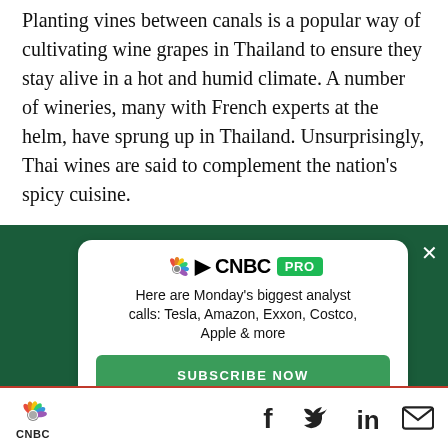Planting vines between canals is a popular way of cultivating wine grapes in Thailand to ensure they stay alive in a hot and humid climate. A number of wineries, many with French experts at the helm, have sprung up in Thailand. Unsurprisingly, Thai wines are said to complement the nation's spicy cuisine.
[Figure (screenshot): CNBC PRO advertisement card on dark green background. Logo says 'CNBC PRO' with peacock icon. Text reads 'Here are Monday's biggest analyst calls: Tesla, Amazon, Exxon, Costco, Apple & more'. Green 'SUBSCRIBE NOW' button. White close (X) button top right.]
CNBC logo with social icons: Facebook, Twitter, LinkedIn, Email